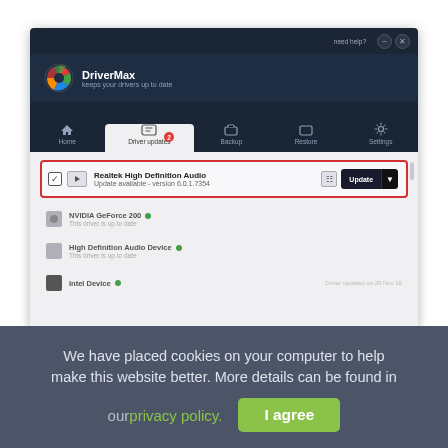[Figure (screenshot): DriverMax application screenshot showing Driver Updates tab with Realtek High Definition Audio update highlighted in red border. Other drivers listed below: NVIDIA GeForce 200, High Definition Audio Device, Intel Device. Navigation bar shows Home, Driver Updates (badge: 2), Backup, Restore, Settings tabs.]
We have placed cookies on your computer to help make this website better. More details can be found in
our privacy policy.
I agree